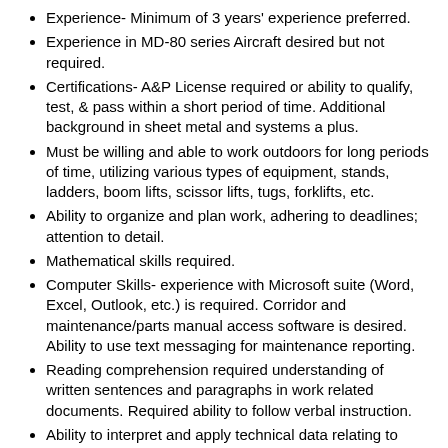Experience- Minimum of 3 years' experience preferred.
Experience in MD-80 series Aircraft desired but not required.
Certifications- A&P License required or ability to qualify, test, & pass within a short period of time. Additional background in sheet metal and systems a plus.
Must be willing and able to work outdoors for long periods of time, utilizing various types of equipment, stands, ladders, boom lifts, scissor lifts, tugs, forklifts, etc.
Ability to organize and plan work, adhering to deadlines; attention to detail.
Mathematical skills required.
Computer Skills- experience with Microsoft suite (Word, Excel, Outlook, etc.) is required. Corridor and maintenance/parts manual access software is desired. Ability to use text messaging for maintenance reporting.
Reading comprehension required understanding of written sentences and paragraphs in work related documents. Required ability to follow verbal instruction.
Ability to interpret and apply technical data relating to position.
Ability to operate applicable equipment; ability to work without supervision required.
Ability to lift up to 80 pounds.
Ability to wear personal protective equipment.